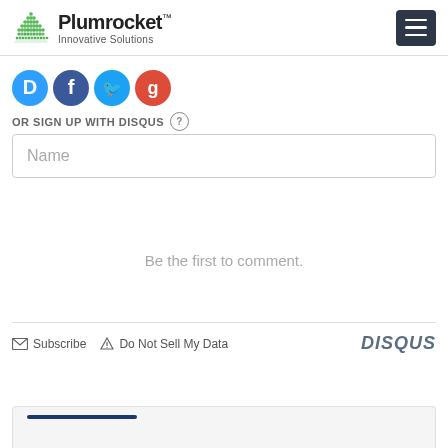Plumrocket Innovative Solutions
[Figure (illustration): Social login icons: Disqus (blue speech bubble), Facebook (blue circle), Twitter (blue circle), Google (red circle)]
OR SIGN UP WITH DISQUS ?
Name
Be the first to comment.
Subscribe   Do Not Sell My Data   DISQUS